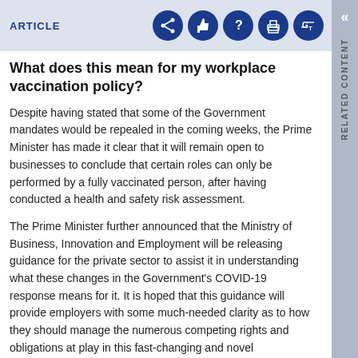ARTICLE
What does this mean for my workplace vaccination policy?
Despite having stated that some of the Government mandates would be repealed in the coming weeks, the Prime Minister has made it clear that it will remain open to businesses to conclude that certain roles can only be performed by a fully vaccinated person, after having conducted a health and safety risk assessment.
The Prime Minister further announced that the Ministry of Business, Innovation and Employment will be releasing guidance for the private sector to assist it in understanding what these changes in the Government's COVID-19 response means for it. It is hoped that this guidance will provide employers with some much-needed clarity as to how they should manage the numerous competing rights and obligations at play in this fast-changing and novel environment.